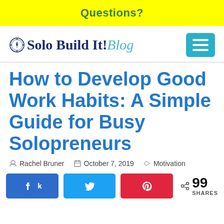Questions?
[Figure (logo): Solo Build It! Blog logo with compass icon and teal italic 'Blog' text, plus teal hamburger menu button]
How to Develop Good Work Habits: A Simple Guide for Busy Solopreneurs
Rachel Bruner   October 7, 2019   Motivation
99 SHARES